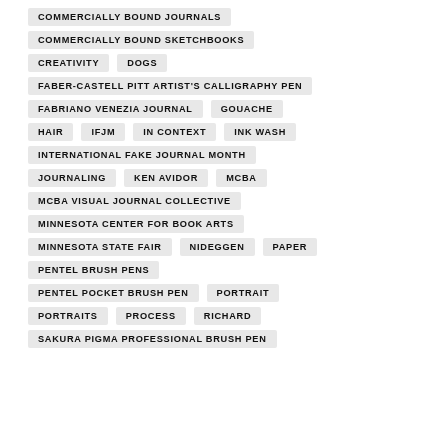COMMERCIALLY BOUND JOURNALS
COMMERCIALLY BOUND SKETCHBOOKS
CREATIVITY
DOGS
FABER-CASTELL PITT ARTIST'S CALLIGRAPHY PEN
FABRIANO VENEZIA JOURNAL
GOUACHE
HAIR
IFJM
IN CONTEXT
INK WASH
INTERNATIONAL FAKE JOURNAL MONTH
JOURNALING
KEN AVIDOR
MCBA
MCBA VISUAL JOURNAL COLLECTIVE
MINNESOTA CENTER FOR BOOK ARTS
MINNESOTA STATE FAIR
NIDEGGEN
PAPER
PENTEL BRUSH PENS
PENTEL POCKET BRUSH PEN
PORTRAIT
PORTRAITS
PROCESS
RICHARD
SAKURA PIGMA PROFESSIONAL BRUSH PEN